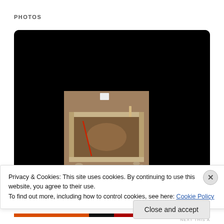PHOTOS
[Figure (photo): Archaeological excavation photo showing a square pit with wooden frame/shoring, viewed from above, with sandy/brown soil visible inside. Red measuring rod visible in pit. Photo displayed centered on a black background within a dark rounded-corner frame.]
Privacy & Cookies: This site uses cookies. By continuing to use this website, you agree to their use.
To find out more, including how to control cookies, see here: Cookie Policy
Close and accept